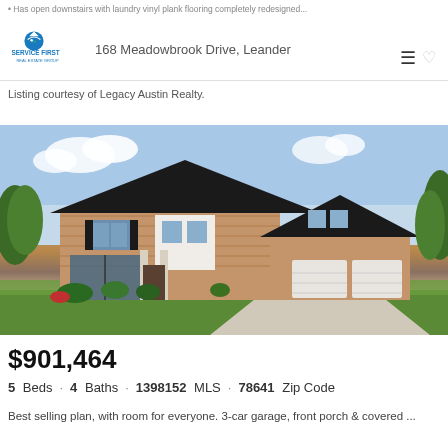• Has open downstairs with laundry vinyl plank flooring completely redesigned...
168 Meadowbrook Drive, Leander
Listing courtesy of Legacy Austin Realty.
[Figure (photo): Two-story brick home with black roof, large windows, 3-car garage, and landscaped front yard with green trees and shrubs]
$901,464
5 Beds · 4 Baths · 1398152 MLS · 78641 Zip Code
Best selling plan, with room for everyone. 3-car garage, front porch & covered ...